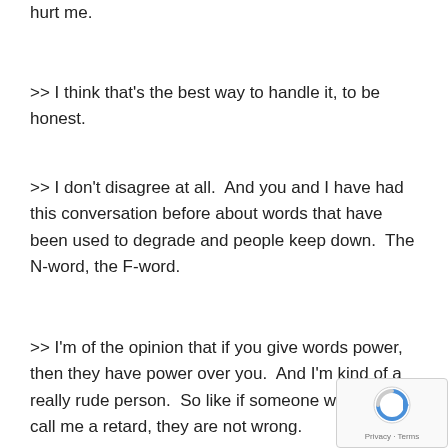hurt me.
>> I think that's the best way to handle it, to be honest.
>> I don't disagree at all.  And you and I have had this conversation before about words that have been used to degrade and people keep down.  The N-word, the F-word.
>> I'm of the opinion that if you give words power, then they have power over you.  And I'm kind of a really rude person.  So like if someone wants to call me a retard, they are not wrong.
[Figure (logo): reCAPTCHA badge with logo and Privacy/Terms links]